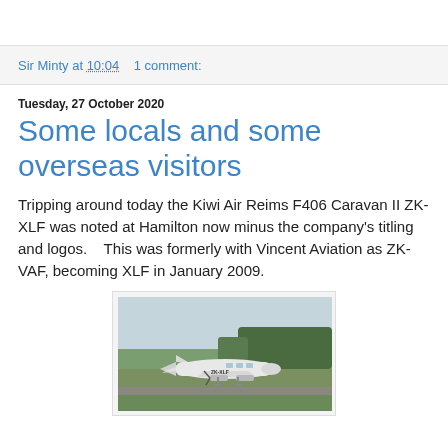Sir Minty at 10:04    1 comment:
Tuesday, 27 October 2020
Some locals and some overseas visitors
Tripping around today the Kiwi Air Reims F406 Caravan II ZK-XLF was noted at Hamilton now minus the company's titling and logos.    This was formerly with Vincent Aviation as ZK-VAF, becoming XLF in January 2009.
[Figure (photo): A white twin-engine aircraft (ZK-XLF, Reims F406 Caravan II) on a runway with trees in the background]